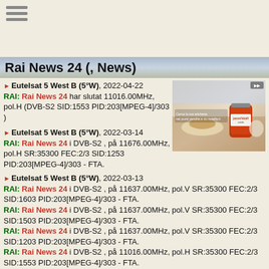☰ (hamburger menu icon)
Rai News 24 (, News)
▶ Eutelsat 5 West B (5°W), 2022-04-22
RAI: Rai News 24 har slutat 11016.00MHz, pol.H (DVB-S2 SID:1553 PID:203[MPEG-4]/303 )
[Figure (photo): Advertisement showing Nutella jar (jamm'bbèll) with bread and other food items on a table. Italian text: Cerca la tua etichetta nei punti vendita e su nutella.it]
▶ Eutelsat 5 West B (5°W), 2022-03-14
RAI: Rai News 24 i DVB-S2 , på 11676.00MHz, pol.H SR:35300 FEC:2/3 SID:1253 PID:203[MPEG-4]/303 - FTA.
▶ Eutelsat 5 West B (5°W), 2022-03-13
RAI: Rai News 24 i DVB-S2 , på 11637.00MHz, pol.V SR:35300 FEC:2/3 SID:1603 PID:203[MPEG-4]/303 - FTA.
RAI: Rai News 24 i DVB-S2 , på 11637.00MHz, pol.V SR:35300 FEC:2/3 SID:1503 PID:203[MPEG-4]/303 - FTA.
RAI: Rai News 24 i DVB-S2 , på 11637.00MHz, pol.V SR:35300 FEC:2/3 SID:1203 PID:203[MPEG-4]/303 - FTA.
RAI: Rai News 24 i DVB-S2 , på 11016.00MHz, pol.H SR:35300 FEC:2/3 SID:1553 PID:203[MPEG-4]/303 - FTA.
RAI: Rai News 24 i DVB-S2 , på 11016.00MHz, pol.H SR:35300 FEC:2/3 SID:1553 PID:203[MPEG-4]/303 - FTA.